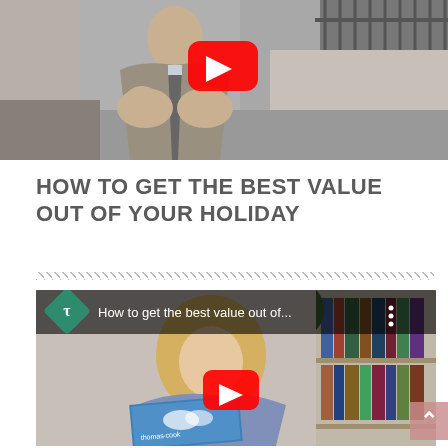[Figure (screenshot): YouTube video thumbnail showing a man in a grey suit gesturing with his hands outdoors near iron railings. A large red YouTube play button is overlaid in the center.]
HOW TO GET THE BEST VALUE OUT OF YOUR HOLIDAY
[Figure (screenshot): YouTube video embed showing a woman holding a travel guide book, smiling at the camera. The Telegraph logo (diamond shape with T) appears in the top-left corner with the title 'How to get the best value out of...' A large red YouTube play button is overlaid in the center.]